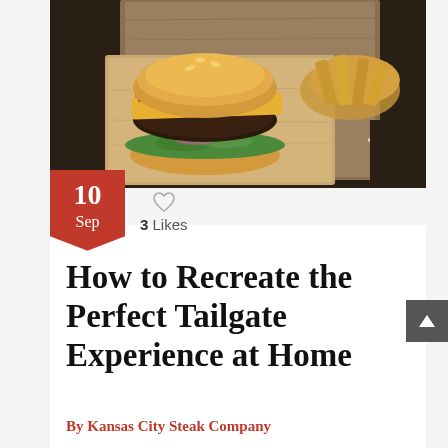[Figure (photo): A burger with lettuce, cheese, and bacon on a wooden cutting board, with additional food items in the background, on a dark wooden surface with salt crystals visible]
10
Sep
3 Likes
How to Recreate the Perfect Tailgate Experience at Home
By Kansas City Steak Company